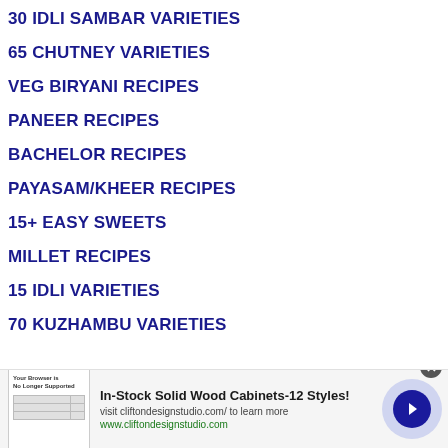30 IDLI SAMBAR VARIETIES
65 CHUTNEY VARIETIES
VEG BIRYANI RECIPES
PANEER RECIPES
BACHELOR RECIPES
PAYASAM/KHEER RECIPES
15+ EASY SWEETS
MILLET RECIPES
15 IDLI VARIETIES
70 KUZHAMBU VARIETIES
[Figure (screenshot): Advertisement banner: In-Stock Solid Wood Cabinets-12 Styles! visit cliftondesignstudio.com/ to learn more www.cliftondesignstudio.com]